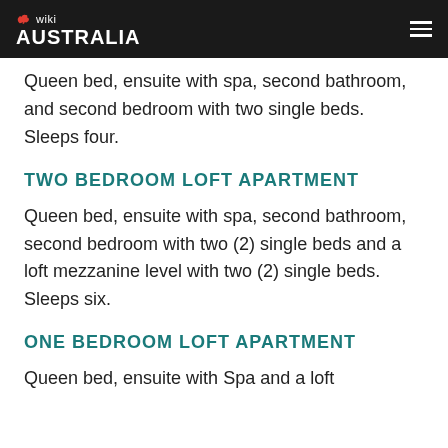wiki AUSTRALIA
Queen bed, ensuite with spa, second bathroom, and second bedroom with two single beds. Sleeps four.
TWO BEDROOM LOFT APARTMENT
Queen bed, ensuite with spa, second bathroom, second bedroom with two (2) single beds and a loft mezzanine level with two (2) single beds. Sleeps six.
ONE BEDROOM LOFT APARTMENT
Queen bed, ensuite with Spa and a loft